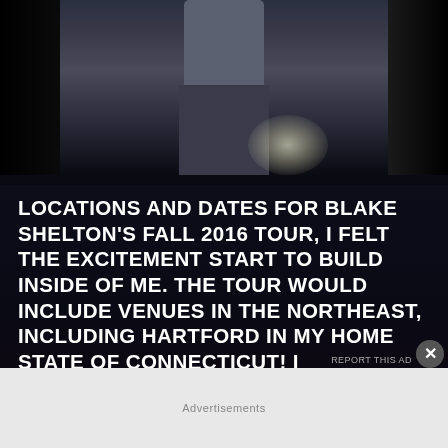[Figure (photo): Photo of a person on stage with stage lighting, wearing a gray shirt and jeans, with a bright light spot visible in the background]
LOCATIONS AND DATES FOR BLAKE SHELTON'S FALL 2016 TOUR, I FELT THE EXCITEMENT START TO BUILD INSIDE OF ME. THE TOUR WOULD INCLUDE VENUES IN THE NORTHEAST, INCLUDING HARTFORD IN MY HOME STATE OF CONNECTICUT! I IMMEDIATELY KNEW THE CALL I HAD TO MAKE.
MY FRIEND FRAN AND I MET VIA THE MAGIC OF SOCIAL MEDIA:
Advertisements